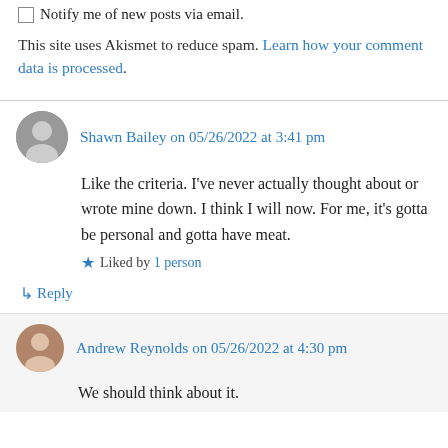☐ Notify me of new posts via email.
This site uses Akismet to reduce spam. Learn how your comment data is processed.
Shawn Bailey on 05/26/2022 at 3:41 pm
Like the criteria. I've never actually thought about or wrote mine down. I think I will now. For me, it's gotta be personal and gotta have meat.
Liked by 1 person
↵ Reply
Andrew Reynolds on 05/26/2022 at 4:30 pm
We should think about it.